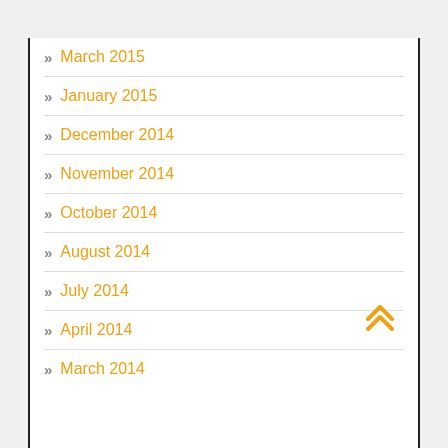March 2015
January 2015
December 2014
November 2014
October 2014
August 2014
July 2014
April 2014
March 2014